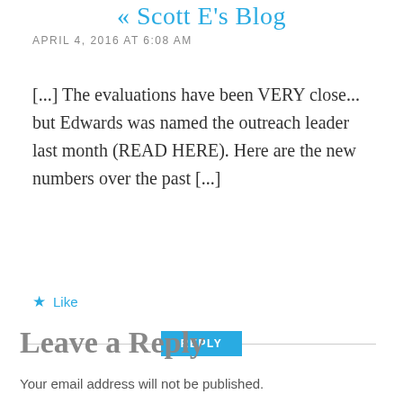« Scott E's Blog
APRIL 4, 2016 AT 6:08 AM
[...] The evaluations have been VERY close... but Edwards was named the outreach leader last month (READ HERE). Here are the new numbers over the past [...]
★ Like
REPLY
Leave a Reply
Your email address will not be published.